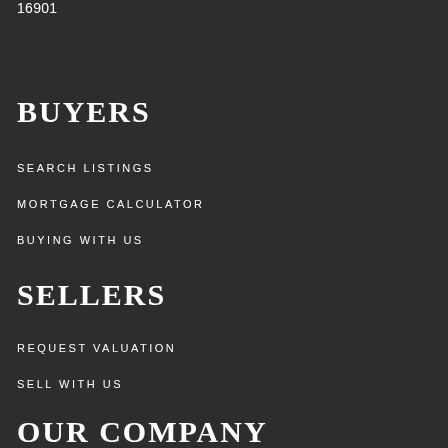16901
BUYERS
SEARCH LISTINGS
MORTGAGE CALCULATOR
BUYING WITH US
SELLERS
REQUEST VALUATION
SELL WITH US
OUR COMPANY